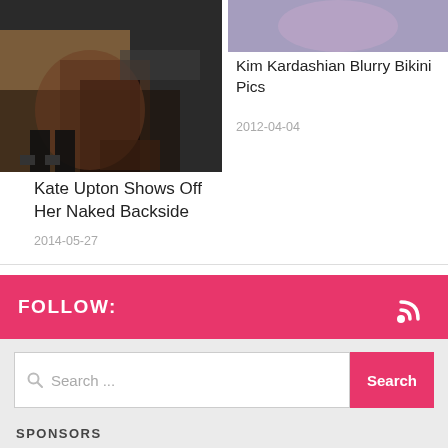[Figure (photo): Photo of person with dark stockings and high heels on a dark background]
[Figure (photo): Partial photo of a person at the top right]
Kim Kardashian Blurry Bikini Pics
2012-04-04
Kate Upton Shows Off Her Naked Backside
2014-05-27
FOLLOW:
Search ...
SPONSORS
[Figure (photo): Sponsors advertisement banner — green/dark red background with text 'FREE WIN' and coin graphics]